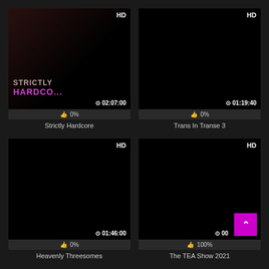[Figure (screenshot): Video thumbnail for Strictly Hardcore with HD badge, duration 02:07:00, 0% rating]
Strictly Hardcore
[Figure (screenshot): Video thumbnail for Trans In Transe 3 with HD badge, duration 01:19:40, 0% rating]
Trans In Transe 3
[Figure (screenshot): Video thumbnail for Heavenly Threesomes with HD badge, duration 01:46:00, 0% rating]
Heavenly Threesomes
[Figure (screenshot): Video thumbnail for The TEA Show 2021 with HD badge, magenta scroll button visible, 100% rating]
The TEA Show 2021